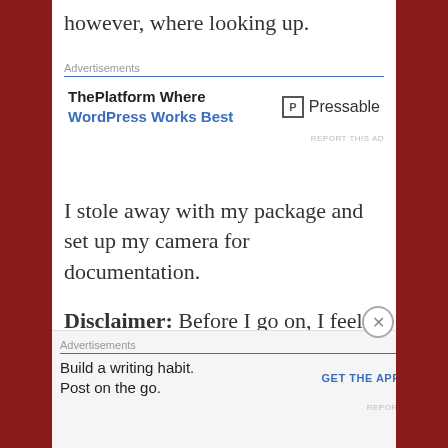however, where looking up.
[Figure (other): Advertisement banner: ThePlatform Where WordPress Works Best | Pressable logo]
I stole away with my package and set up my camera for documentation.
Disclaimer: Before I go on, I feel it my solemn duty as a lover of all things mysterious to warn you, the unsuspecting reader. The Box of Dread is a new service provided by the good people at Dread
[Figure (other): Advertisement banner: Build a writing habit. Post on the go. GET THE APP with WordPress logo]